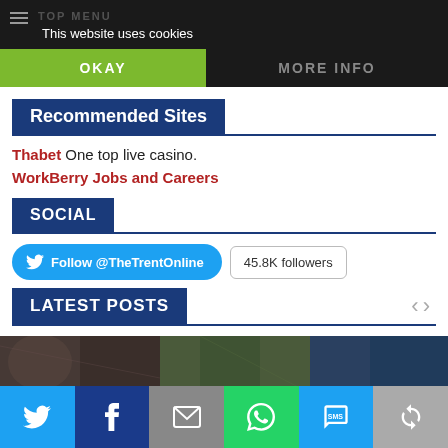This website uses cookies
OKAY | MORE INFO
Recommended Sites
Thabet One top live casino.
WorkBerry Jobs and Careers
SOCIAL
Follow @TheTrentOnline  45.8K followers
LATEST POSTS
[Figure (photo): Strip of photos at bottom of latest posts section]
Social share bar: Twitter, Facebook, Email, WhatsApp, SMS, Share